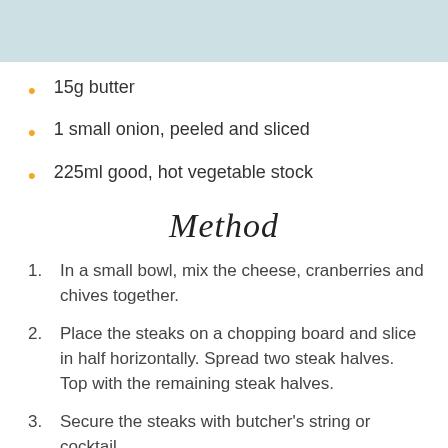15g butter
1 small onion, peeled and sliced
225ml good, hot vegetable stock
Method
1. In a small bowl, mix the cheese, cranberries and chives together.
2. Place the steaks on a chopping board and slice in half horizontally. Spread two steak halves. Top with the remaining steak halves.
3. Secure the steaks with butcher's string or cocktail